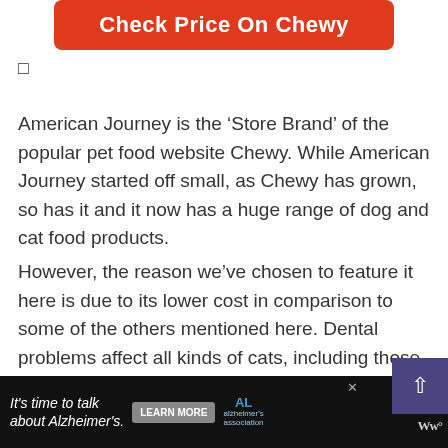[Figure (other): Red rounded rectangle button with white bold text reading 'Check Price On Chewy']
☐
American Journey is the 'Store Brand' of the popular pet food website Chewy. While American Journey started off small, as Chewy has grown, so has it and it now has a huge range of dog and cat food products.
However, the reason we've chosen to feature it here is due to its lower cost in comparison to some of the others mentioned here. Dental problems affect all kinds of cats, including those with owners on a tight budget, and only highlighting premium or high-cost solutions would be unwise.
[Figure (other): Dark purple scroll-to-top button with white upward chevron arrow]
[Figure (other): Black advertisement bar at bottom: 'It's time to talk about Alzheimer's.' with LEARN MORE button, Alzheimer's Association logo, close X, and Ww° icon]